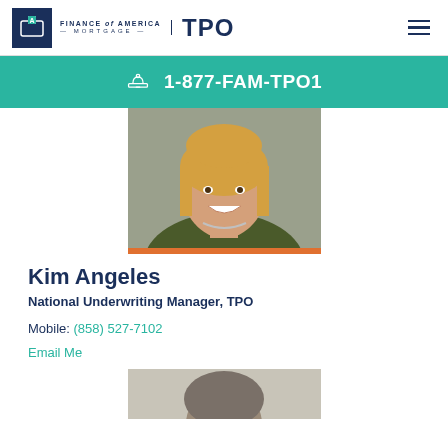Finance of America Mortgage | TPO
1-877-FAM-TPO1
[Figure (photo): Professional headshot of Kim Angeles, a woman with blonde hair and an olive/dark jacket with a necklace, smiling.]
Kim Angeles
National Underwriting Manager, TPO
Mobile: (858) 527-7102
Email Me
[Figure (photo): Partial photo of a second person, only the top of the head visible.]